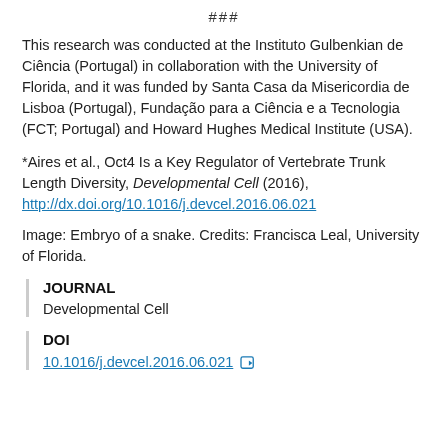###
This research was conducted at the Instituto Gulbenkian de Ciência (Portugal) in collaboration with the University of Florida, and it was funded by Santa Casa da Misericordia de Lisboa (Portugal), Fundação para a Ciência e a Tecnologia (FCT; Portugal) and Howard Hughes Medical Institute (USA).
*Aires et al., Oct4 Is a Key Regulator of Vertebrate Trunk Length Diversity, Developmental Cell (2016), http://dx.doi.org/10.1016/j.devcel.2016.06.021
Image: Embryo of a snake. Credits: Francisca Leal, University of Florida.
JOURNAL
Developmental Cell
DOI
10.1016/j.devcel.2016.06.021